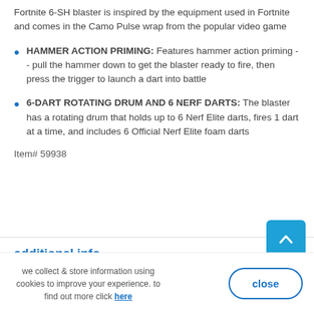Fortnite 6-SH blaster is inspired by the equipment used in Fortnite and comes in the Camo Pulse wrap from the popular video game
HAMMER ACTION PRIMING: Features hammer action priming -- pull the hammer down to get the blaster ready to fire, then press the trigger to launch a dart into battle
6-DART ROTATING DRUM AND 6 NERF DARTS: The blaster has a rotating drum that holds up to 6 Nerf Elite darts, fires 1 dart at a time, and includes 6 Official Nerf Elite foam darts
Item# 59938
additional info
we collect & store information using cookies to improve your experience. to find out more click here